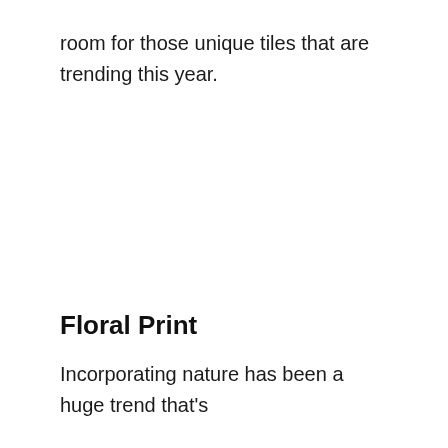room for those unique tiles that are trending this year.
Floral Print
Incorporating nature has been a huge trend that's